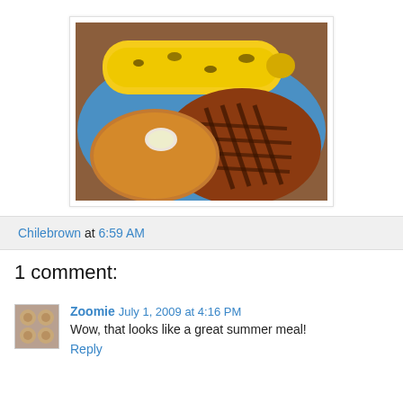[Figure (photo): A blue plate with grilled steak with grill marks, corn on the cob with seasoning, and what appears to be a corn fritter or similar dish with a dollop of butter on top.]
Chilebrown at 6:59 AM
1 comment:
Zoomie July 1, 2009 at 4:16 PM
Wow, that looks like a great summer meal!
Reply